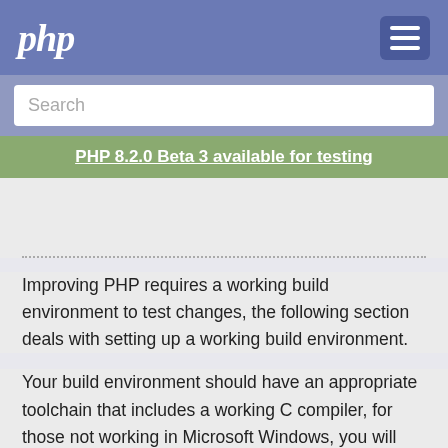php
Search
PHP 8.2.0 Beta 3 available for testing
Improving PHP requires a working build environment to test changes, the following section deals with setting up a working build environment.
Your build environment should have an appropriate toolchain that includes a working C compiler, for those not working in Microsoft Windows, you will need a working, compatible autotools installation, and at the very least a shared copy of zlib.